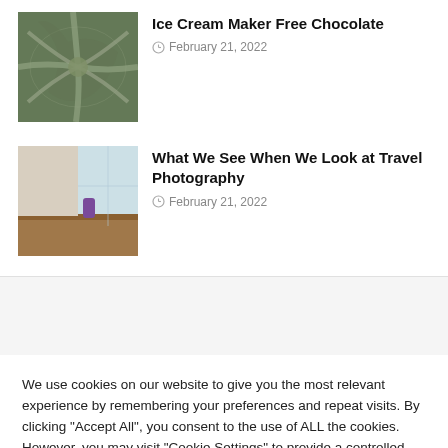[Figure (photo): Aerial view of highway interchange from above]
Ice Cream Maker Free Chocolate
February 21, 2022
[Figure (photo): Modern interior with white vase and purple accent on wooden counter near window]
What We See When We Look at Travel Photography
February 21, 2022
We use cookies on our website to give you the most relevant experience by remembering your preferences and repeat visits. By clicking "Accept All", you consent to the use of ALL the cookies. However, you may visit "Cookie Settings" to provide a controlled consent.